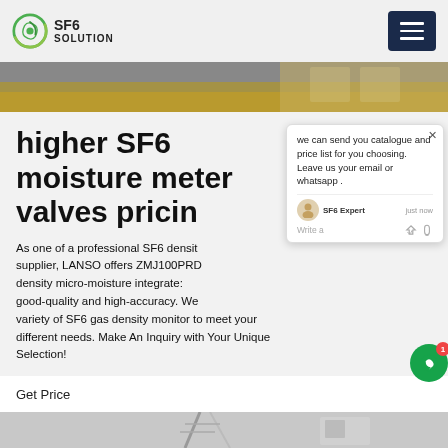SF6 SOLUTION
[Figure (photo): Partial top banner image showing industrial/outdoor equipment]
higher SF6 moisture meter valves pricin
As one of a professional SF6 density supplier, LANSO offers ZMJ100PRD density micro-moisture integrated good-quality and high-accuracy. We variety of SF6 gas density monitor to meet your different needs. Make An Inquiry with Your Unique Selection!
Get Price
[Figure (screenshot): Live chat popup from SF6 Expert saying: we can send you catalogue and price list for you choosing. Leave us your email or whatsapp. With avatar, thumbs up and paperclip icons.]
[Figure (photo): Bottom partial image showing industrial crane/pole structure]